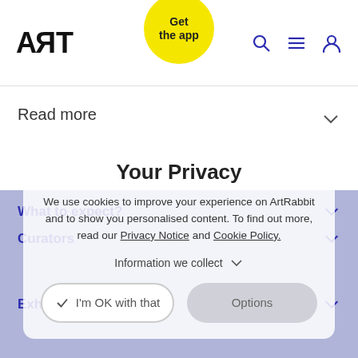ART (logo) | Get the app (button) | search icon | menu icon | user icon
Read more
What to expect?
Curators
Exhibiting artists
Your Privacy
We use cookies to improve your experience on ArtRabbit and to show you personalised content. To find out more, read our Privacy Notice and Cookie Policy.
Information we collect
I'm OK with that
Options
What's on in Barcelona?